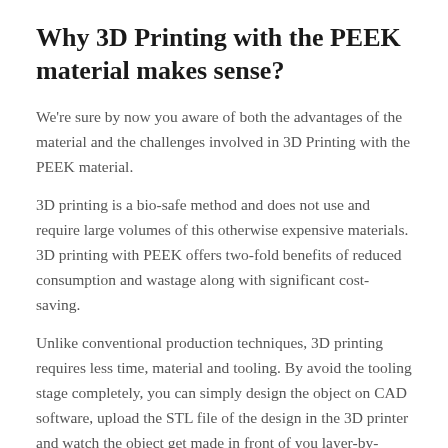Why 3D Printing with the PEEK material makes sense?
We're sure by now you aware of both the advantages of the material and the challenges involved in 3D Printing with the PEEK material.
3D printing is a bio-safe method and does not use and require large volumes of this otherwise expensive materials. 3D printing with PEEK offers two-fold benefits of reduced consumption and wastage along with significant cost-saving.
Unlike conventional production techniques, 3D printing requires less time, material and tooling. By avoid the tooling stage completely, you can simply design the object on CAD software, upload the STL file of the design in the 3D printer and watch the object get made in front of you layer-by-layer.
Additionally, multiple machines and procedures will also be required to ensure biosafety which is a growing concern across manufacturing verticals.